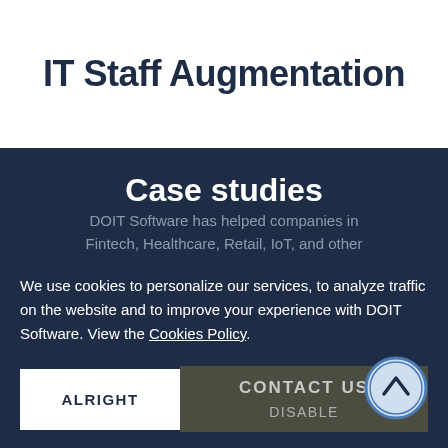IT Staff Augmentation
Case studies
DOIT Software has helped companies in Fintech, Healthcare, Retail, IoT, and other industries to perfect their software with the help of our skilled experts.
We use cookies to personalize our services, to analyze traffic on the website and to improve your experience with DOIT Software. View the Cookies Policy.
ALRIGHT
CONTACT US
DISABLE